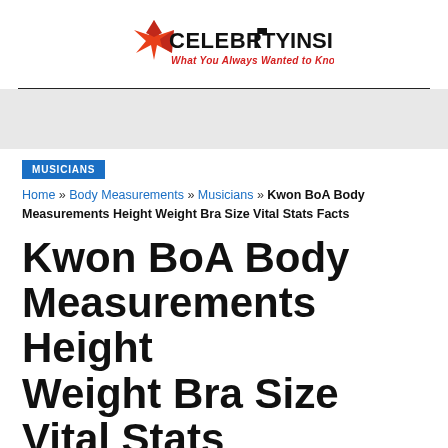[Figure (logo): CelebrityInside logo with red star/flower graphic and text 'CELEBRITYINSIDE - What You Always Wanted to Know']
MUSICIANS
Home » Body Measurements » Musicians » Kwon BoA Body Measurements Height Weight Bra Size Vital Stats Facts
Kwon BoA Body Measurements Height Weight Bra Size Vital Stats